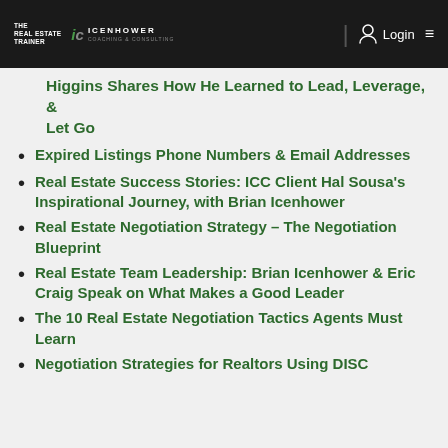THE REAL ESTATE TRAINER | ICENHOWER COACHING & CONSULTING | Login
Higgins Shares How He Learned to Lead, Leverage, & Let Go
Expired Listings Phone Numbers & Email Addresses
Real Estate Success Stories: ICC Client Hal Sousa's Inspirational Journey, with Brian Icenhower
Real Estate Negotiation Strategy – The Negotiation Blueprint
Real Estate Team Leadership: Brian Icenhower & Eric Craig Speak on What Makes a Good Leader
The 10 Real Estate Negotiation Tactics Agents Must Learn
Negotiation Strategies for Realtors Using DISC